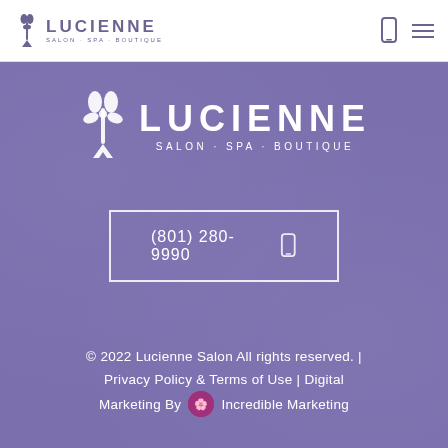LUCIENNE SALON · SPA · BOUTIQUE
[Figure (logo): Lucienne Salon Spa Boutique logo with fleur-de-lis scissors icon, large white version on purple background]
(801) 280-9990
© 2022 Lucienne Salon All rights reserved. | Privacy Policy & Terms of Use | Digital Marketing By Incredible Marketing